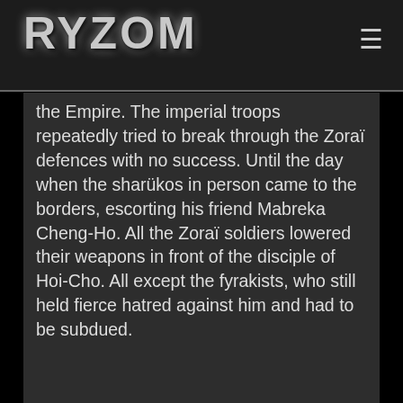RYZOM
[Figure (screenshot): Screenshot of Ryzom game website showing story text about the Empire and Zoraï defences]
the Empire. The imperial troops repeatedly tried to break through the Zoraï defences with no success. Until the day when the sharükos in person came to the borders, escorting his friend Mabreka Cheng-Ho. All the Zoraï soldiers lowered their weapons in front of the disciple of Hoi-Cho. All except the fyrakists, who still held fierce hatred against him and had to be subdued.
Ryzom использует cookie-файлы для трекинга и в маркетинговых целях.
Продолжить только с необходимыми cookies.
Принять все cookies.